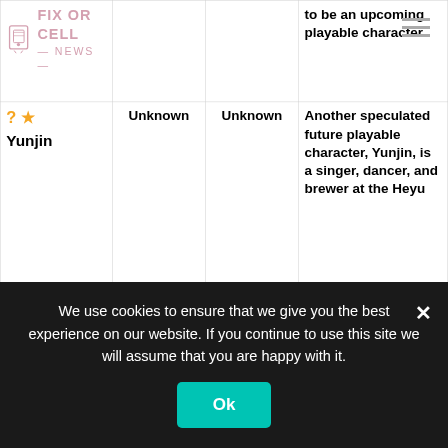| Character | Element | Weapon | Notes |
| --- | --- | --- | --- |
| [logo] FIX OR CELL NEWS |  |  | to be an upcoming playable character. |
| ? ★ Yunjin | Unknown | Unknown | Another speculated future playable character, Yunjin, is a singer, dancer, and brewer at the Heyu... |
We use cookies to ensure that we give you the best experience on our website. If you continue to use this site we will assume that you are happy with it.